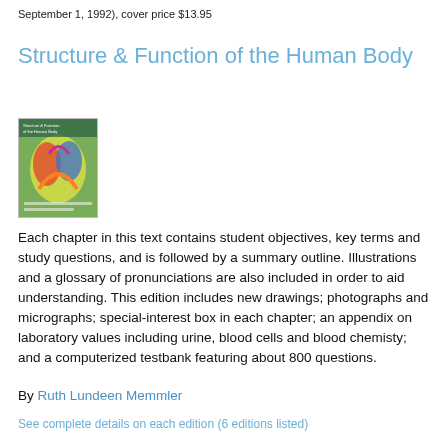September 1, 1992), cover price $13.95
Structure & Function of the Human Body
[Figure (illustration): Book cover of 'Structure & Function of the Human Body' with colorful anatomical illustration on a green background]
Each chapter in this text contains student objectives, key terms and study questions, and is followed by a summary outline. Illustrations and a glossary of pronunciations are also included in order to aid understanding. This edition includes new drawings; photographs and micrographs; special-interest box in each chapter; an appendix on laboratory values including urine, blood cells and blood chemisty; and a computerized testbank featuring about 800 questions.
By Ruth Lundeen Memmler
See complete details on each edition (6 editions listed)